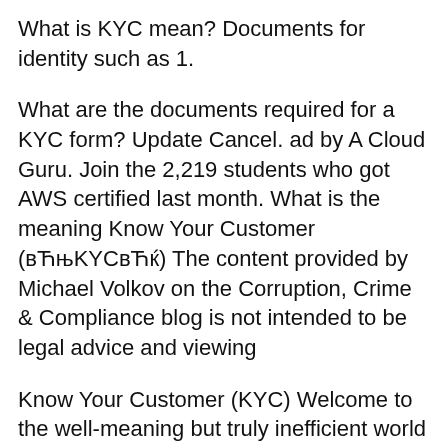What is KYC mean? Documents for identity such as 1.
What are the documents required for a KYC form? Update Cancel. ad by A Cloud Guru. Join the 2,219 students who got AWS certified last month. What is the meaning Know Your Customer (вЋњKYCвЋќ) The content provided by Michael Volkov on the Corruption, Crime & Compliance blog is not intended to be legal advice and viewing
Know Your Customer (KYC) Welcome to the well-meaning but truly inefficient world of onboarding and KYC These six documents are Passport, Driving KNOW YOUR CLIENT (KYC) APPLICATION FORM